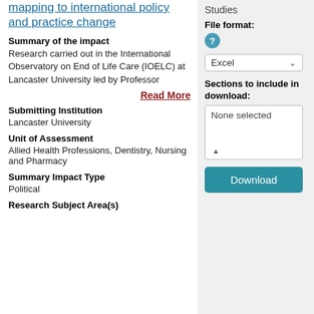mapping to international policy and practice change
Summary of the impact
Research carried out in the International Observatory on End of Life Care (IOELC) at Lancaster University led by Professor
Read More
Submitting Institution
Lancaster University
Unit of Assessment
Allied Health Professions, Dentistry, Nursing and Pharmacy
Summary Impact Type
Political
Research Subject Area(s)
Studies
File format:
Excel
Sections to include in download:
None selected
Download